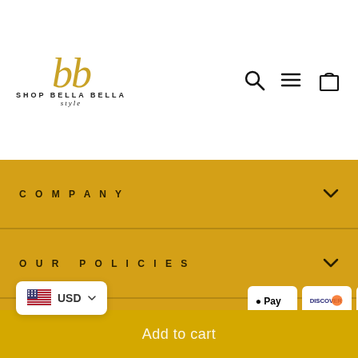[Figure (logo): Shop Bella Bella Style logo with golden italic script letters 'bb' and text 'SHOP BELLA BELLA style' below]
[Figure (infographic): Navigation icons: search magnifier, hamburger menu, and shopping bag]
COMPANY
OUR POLICIES
OUR MISSION
[Figure (infographic): Currency selector showing US flag and USD dropdown, plus payment method icons: Apple Pay, Discover, Meta Pay, Google Pay, Mastercard, PayPal, Apple Pay, Venmo, Visa]
Add to cart